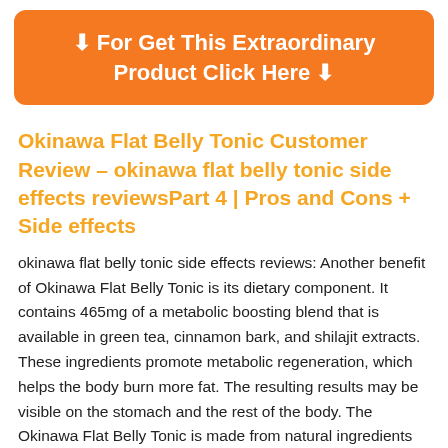⬇ For Get This Extraordinary Product Click Here ⬇
Okinawa Flat Belly Tonic Customer Review – okinawa flat belly tonic side effects reviewsPart 4 | Pros and Cons + Side effects
okinawa flat belly tonic side effects reviews: Another benefit of Okinawa Flat Belly Tonic is its dietary component. It contains 465mg of a metabolic boosting blend that is available in green tea, cinnamon bark, and shilajit extracts. These ingredients promote metabolic regeneration, which helps the body burn more fat. The resulting results may be visible on the stomach and the rest of the body. The Okinawa Flat Belly Tonic is made from natural ingredients that are